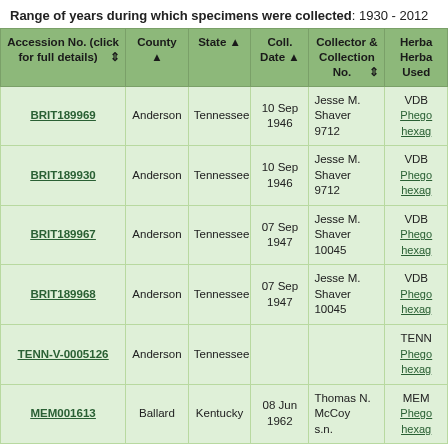Range of years during which specimens were collected: 1930 - 2012
| Accession No. (click for full details) | County | State | Coll. Date | Collector & Collection No. | Herba Herba Used |
| --- | --- | --- | --- | --- | --- |
| BRIT189969 | Anderson | Tennessee | 10 Sep 1946 | Jesse M. Shaver 9712 | VDB Phego hexag |
| BRIT189930 | Anderson | Tennessee | 10 Sep 1946 | Jesse M. Shaver 9712 | VDB Phego hexag |
| BRIT189967 | Anderson | Tennessee | 07 Sep 1947 | Jesse M. Shaver 10045 | VDB Phego hexag |
| BRIT189968 | Anderson | Tennessee | 07 Sep 1947 | Jesse M. Shaver 10045 | VDB Phego hexag |
| TENN-V-0005126 | Anderson | Tennessee |  |  | TENN Phego hexag |
| MEM001613 | Ballard | Kentucky | 08 Jun 1962 | Thomas N. McCoy s.n. | MEM Phego hexag |